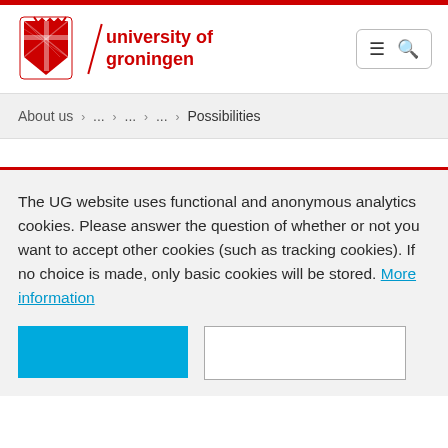university of groningen
About us › ... › ... › ... › Possibilities
The UG website uses functional and anonymous analytics cookies. Please answer the question of whether or not you want to accept other cookies (such as tracking cookies). If no choice is made, only basic cookies will be stored. More information